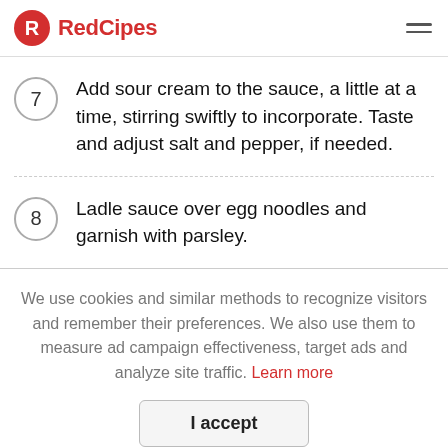RedCipes
7 Add sour cream to the sauce, a little at a time, stirring swiftly to incorporate. Taste and adjust salt and pepper, if needed.
8 Ladle sauce over egg noodles and garnish with parsley.
We use cookies and similar methods to recognize visitors and remember their preferences. We also use them to measure ad campaign effectiveness, target ads and analyze site traffic. Learn more
I accept